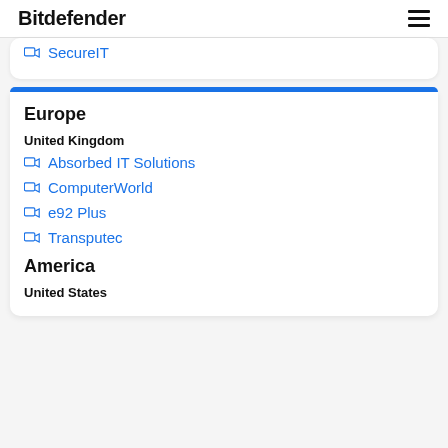Bitdefender
SecureIT
Europe
United Kingdom
Absorbed IT Solutions
ComputerWorld
e92 Plus
Transputec
America
United States